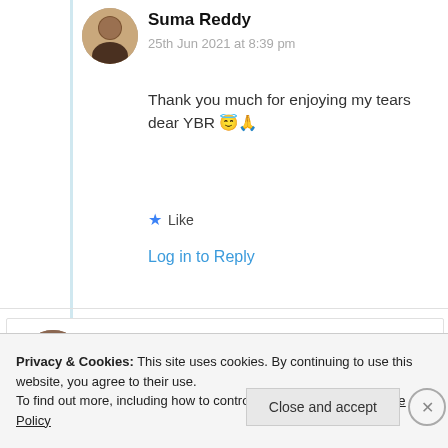Suma Reddy
25th Jun 2021 at 8:39 pm
Thank you much for enjoying my tears dear YBR 😇🙏
Like
Log in to Reply
Jeff Flesch
Privacy & Cookies: This site uses cookies. By continuing to use this website, you agree to their use.
To find out more, including how to control cookies, see here: Cookie Policy
Close and accept